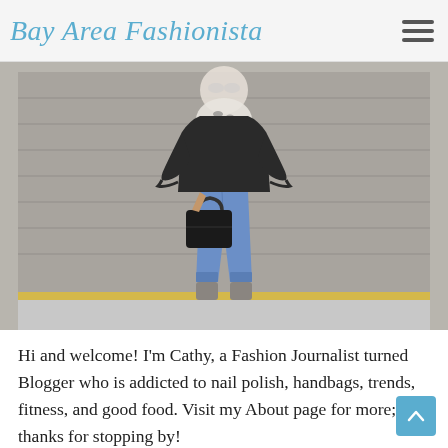Bay Area Fashionista
[Figure (photo): Woman standing in front of a beige garage door, wearing a black long-sleeve ruffle top, blue skinny jeans, gray ankle boots, and a black-and-white animal print scarf, carrying a black handbag.]
Hi and welcome! I'm Cathy, a Fashion Journalist turned Blogger who is addicted to nail polish, handbags, trends, fitness, and good food. Visit my About page for more; and thanks for stopping by!